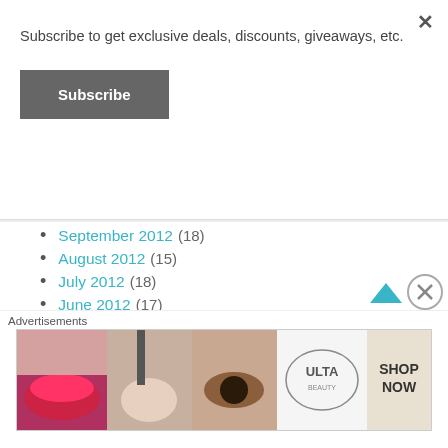Subscribe to get exclusive deals, discounts, giveaways, etc.
Subscribe
October 2012 (13)
September 2012 (18)
August 2012 (15)
July 2012 (18)
June 2012 (17)
May 2012 (18)
April 2012 (19)
March 2012 (14)
Advertisements
[Figure (photo): ULTA beauty advertisement banner with makeup images and SHOP NOW text]